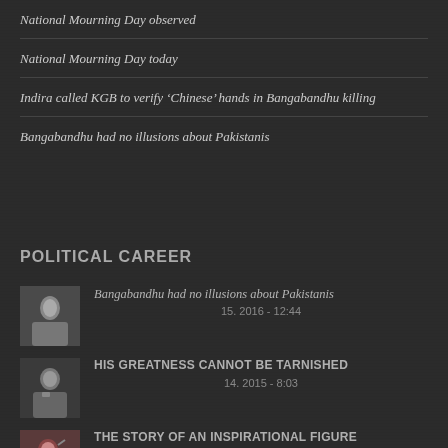National Mourning Day observed
National Mourning Day today
Indira called KGB to verify ‘Chinese’ hands in Bangabandhu killing
Bangabandhu had no illusions about Pakistanis
POLITICAL CAREER
Bangabandhu had no illusions about Pakistanis
15. 2016 - 12:44
HIS GREATNESS CANNOT BE TARNISHED
14. 2015 - 8:03
THE STORY OF AN INSPIRATIONAL FIGURE
17. 2014 - 2:20
The Declaration of Independence
6. 2013 - 5:49